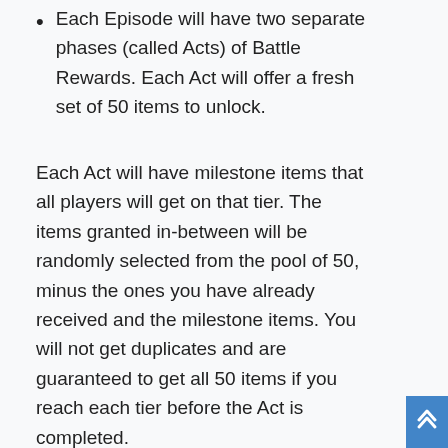Each Episode will have two separate phases (called Acts) of Battle Rewards. Each Act will offer a fresh set of 50 items to unlock.
Each Act will have milestone items that all players will get on that tier. The items granted in-between will be randomly selected from the pool of 50, minus the ones you have already received and the milestone items. You will not get duplicates and are guaranteed to get all 50 items if you reach each tier before the Act is completed.
Two weeks after launch you will be able to purchase a Rewards Booster using Ghost